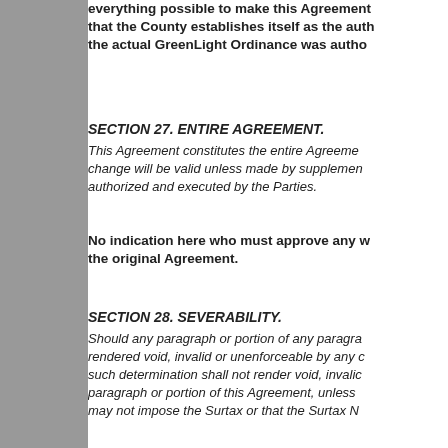everything possible to make this Agreement that the County establishes itself as the auth the actual GreenLight Ordinance was autho
SECTION 27. ENTIRE AGREEMENT.
This Agreement constitutes the entire Agreeme change will be valid unless made by supplemen authorized and executed by the Parties.
No indication here who must approve any w the original Agreement.
SECTION 28. SEVERABILITY.
Should any paragraph or portion of any paragra rendered void, invalid or unenforceable by any c such determination shall not render void, invalic paragraph or portion of this Agreement, unless may not impose the Surtax or that the Surtax N